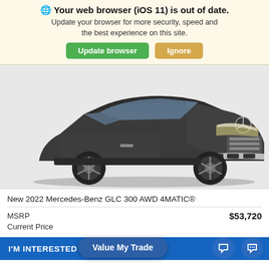🌐 Your web browser (iOS 11) is out of date. Update your browser for more security, speed and the best experience on this site.
Update browser | Ignore
[Figure (photo): Black Mercedes-Benz GLC 300 AWD 4MATIC SUV shown from a front 3/4 angle on a light gray background]
New 2022 Mercedes-Benz GLC 300 AWD 4MATIC®
MSRP $53,720
Current Price
Value My Trade
I'M INTERESTED